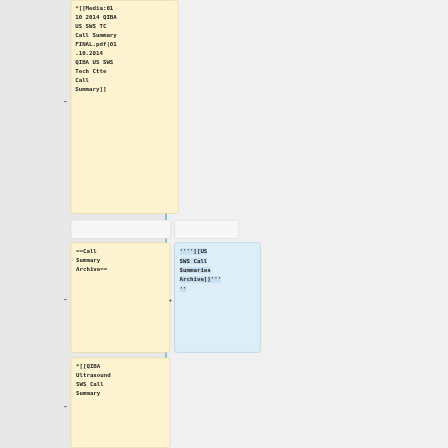*[[Media:01 10 2014 QIBA US SWS TC Call Summary FINAL.pdf|01.10.2014 QIBA US SWS Tech Ctte Call Summary]]
==Call Summary Archive==
''''[[US SWS Call Summaries Archive]]''' ''
*[[QIBA Ultrasound SWS Call Summary